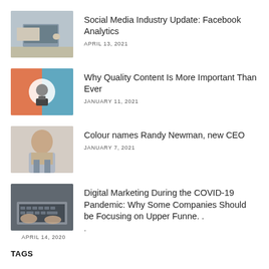[Figure (photo): Laptop and drink on desk from above]
Social Media Industry Update: Facebook Analytics
APRIL 13, 2021
[Figure (photo): Person photographing food with phone]
Why Quality Content Is More Important Than Ever
JANUARY 11, 2021
[Figure (photo): Man in suit smiling, portrait]
Colour names Randy Newman, new CEO
JANUARY 7, 2021
[Figure (photo): Hands typing on laptop keyboard]
Digital Marketing During the COVID-19 Pandemic: Why Some Companies Should be Focusing on Upper Funne. .
.
APRIL 14, 2020
TAGS